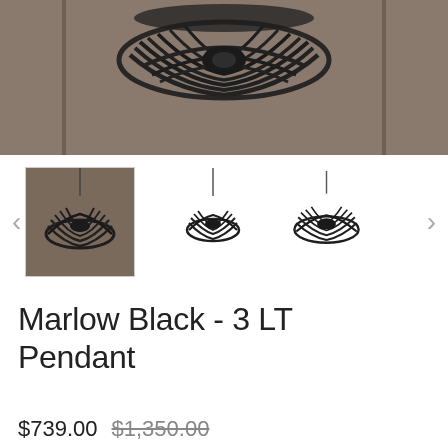[Figure (photo): Close-up product photo of Marlow Black 3 LT Pendant light fixture against a taupe/brown wall, showing the black cage-style pendant from below at an angle.]
[Figure (photo): Thumbnail row showing three images of the Marlow Black 3 LT Pendant: a larger selected thumbnail showing the full pendant hanging, and two smaller thumbnails showing the pendant from different angles.]
Marlow Black - 3 LT Pendant
$739.00 $1,350.00